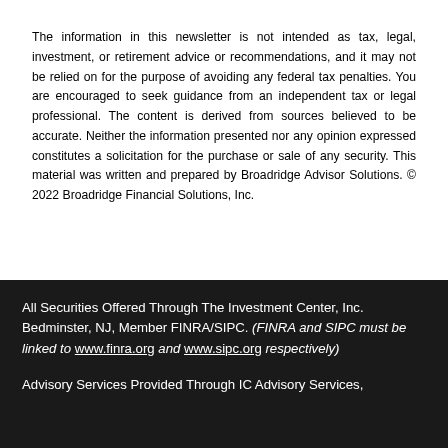The information in this newsletter is not intended as tax, legal, investment, or retirement advice or recommendations, and it may not be relied on for the purpose of avoiding any federal tax penalties. You are encouraged to seek guidance from an independent tax or legal professional. The content is derived from sources believed to be accurate. Neither the information presented nor any opinion expressed constitutes a solicitation for the purchase or sale of any security. This material was written and prepared by Broadridge Advisor Solutions. © 2022 Broadridge Financial Solutions, Inc.
All Securities Offered Through The Investment Center, Inc. Bedminster, NJ, Member FINRA/SIPC. (FINRA and SIPC must be linked to www.finra.org and www.sipc.org respectively)

Advisory Services Provided Through IC Advisory Services,